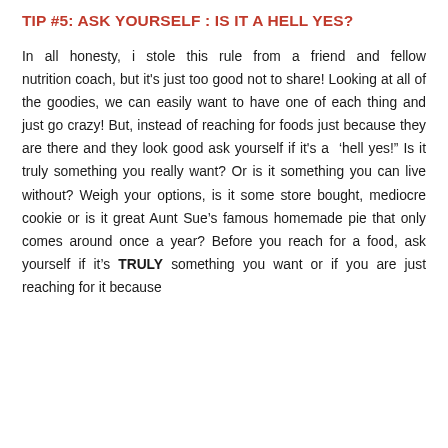TIP #5: ASK YOURSELF : IS IT A HELL YES?
In all honesty, i stole this rule from a friend and fellow nutrition coach, but it's just too good not to share! Looking at all of the goodies, we can easily want to have one of each thing and just go crazy! But, instead of reaching for foods just because they are there and they look good ask yourself if it's a ‘hell yes!” Is it truly something you really want? Or is it something you can live without? Weigh your options, is it some store bought, mediocre cookie or is it great Aunt Sue’s famous homemade pie that only comes around once a year? Before you reach for a food, ask yourself if it’s TRULY something you want or if you are just reaching for it because